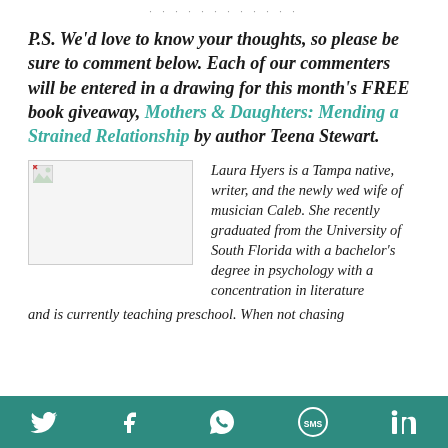· · · · · · · · · · · ·
P.S. We'd love to know your thoughts, so please be sure to comment below. Each of our commenters will be entered in a drawing for this month's FREE book giveaway, Mothers & Daughters: Mending a Strained Relationship by author Teena Stewart.
[Figure (photo): Broken image placeholder thumbnail (author photo)]
Laura Hyers is a Tampa native, writer, and the newly wed wife of musician Caleb. She recently graduated from the University of South Florida with a bachelor's degree in psychology with a concentration in literature and is currently teaching preschool. When not chasing
Twitter | Facebook | WhatsApp | SMS | LinkedIn